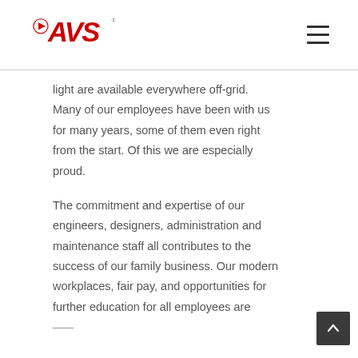AVS
light are available everywhere off-grid. Many of our employees have been with us for many years, some of them even right from the start. Of this we are especially proud.
The commitment and expertise of our engineers, designers, administration and maintenance staff all contributes to the success of our family business. Our modern workplaces, fair pay, and opportunities for further education for all employees are